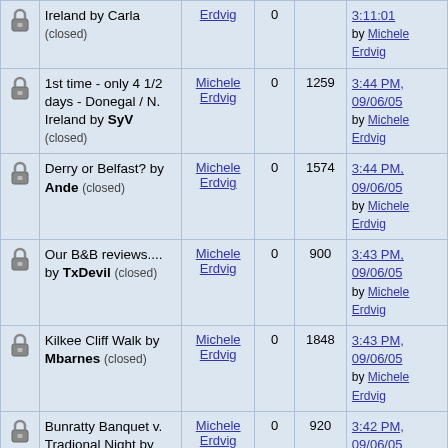|  | Topic | Author | Replies | Views | Last Post |
| --- | --- | --- | --- | --- | --- |
| [lock] | Ireland by Carla (closed) | Erdvig | 0 | — | by Michele Erdvig |
| [lock] | 1st time - only 4 1/2 days - Donegal / N. Ireland by SyV (closed) | Michele Erdvig | 0 | 1259 | 3:44 PM, 09/06/05 by Michele Erdvig |
| [lock] | Derry or Belfast? by Ande (closed) | Michele Erdvig | 0 | 1574 | 3:44 PM, 09/06/05 by Michele Erdvig |
| [lock] | Our B&B reviews.... by TxDevil (closed) | Michele Erdvig | 0 | 900 | 3:43 PM, 09/06/05 by Michele Erdvig |
| [lock] | Kilkee Cliff Walk by Mbarnes (closed) | Michele Erdvig | 0 | 1848 | 3:43 PM, 09/06/05 by Michele Erdvig |
| [lock] | Bunratty Banquet v. Tradional Night by Jennifer (closed) | Michele Erdvig | 0 | 920 | 3:42 PM, 09/06/05 by Michele Erdvig |